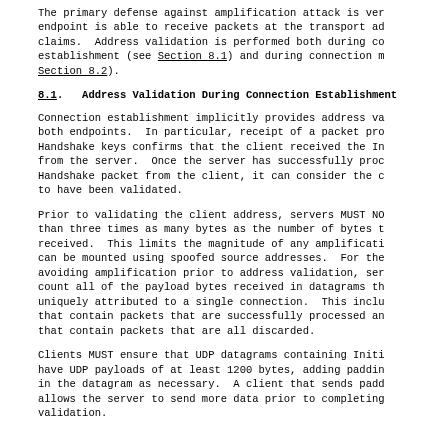The primary defense against amplification attack is ver endpoint is able to receive packets at the transport ad claims. Address validation is performed both during co establishment (see Section 8.1) and during connection m Section 8.2).
8.1. Address Validation During Connection Establishment
Connection establishment implicitly provides address va both endpoints. In particular, receipt of a packet pro Handshake keys confirms that the client received the In from the server. Once the server has successfully proc Handshake packet from the client, it can consider the c to have been validated.
Prior to validating the client address, servers MUST NO than three times as many bytes as the number of bytes t received. This limits the magnitude of any amplificati can be mounted using spoofed source addresses. For the avoiding amplification prior to address validation, ser count all of the payload bytes received in datagrams th uniquely attributed to a single connection. This inclu that contain packets that are successfully processed an that contain packets that are all discarded.
Clients MUST ensure that UDP datagrams containing Initi have UDP payloads of at least 1200 bytes, adding paddin in the datagram as necessary. A client that sends padd allows the server to send more data prior to completing validation.